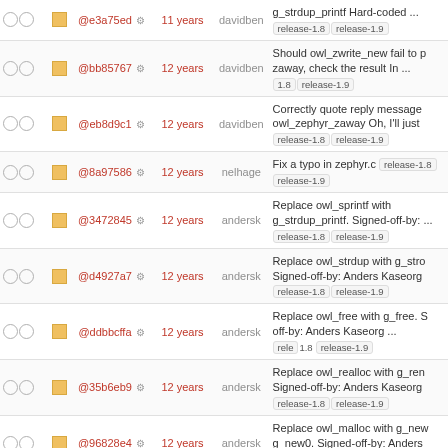|  |  | hash | age | author | message |
| --- | --- | --- | --- | --- | --- |
| ○ ○ | ■ | @e3a75ed ⚙ | 11 years | davidben | g_strdup_printf Hard-coded ... release-1.8 release-1.9 |
| ○ ○ | ■ | @bb85767 ⚙ | 12 years | davidben | Should owl_zwrite_new fail to p zaway, check the result In ... 1.8 release-1.9 |
| ○ ○ | ■ | @eb8d9c1 ⚙ | 12 years | davidben | Correctly quote reply message owl_zephyr_zaway Oh, I'll just release-1.8 release-1.9 |
| ○ ○ | ■ | @8a97586 ⚙ | 12 years | nelhage | Fix a typo in zephyr.c release-1.8 release-1.9 |
| ○ ○ | ■ | @3472845 ⚙ | 12 years | andersk | Replace owl_sprintf with g_strdup_printf. Signed-off-by: ... release-1.8 release-1.9 |
| ○ ○ | ■ | @d4927a7 ⚙ | 12 years | andersk | Replace owl_strdup with g_strd Signed-off-by: Anders Kaseorg release-1.8 release-1.9 |
| ○ ○ | ■ | @ddbbcffa ⚙ | 12 years | andersk | Replace owl_free with g_free. S off-by: Anders Kaseorg ... release-1.8 release-1.9 |
| ○ ○ | ■ | @35b6eb9 ⚙ | 12 years | andersk | Replace owl_realloc with g_ren Signed-off-by: Anders Kaseorg release-1.8 release-1.9 |
| ○ ○ | ■ | @96828e4 ⚙ | 12 years | andersk | Replace owl_malloc with g_new g_new0. Signed-off-by: Anders release-1.8 release-1.9 |
| ○ ○ | ■ | @df3a1f4 ⚙ | 12 years | davidben | Replace realloc logic in owl_zephyr_getsubs with GStri release-1.8 release-1.9 |
| ○ ○ | ■ | @fc7481a ⚙ | 12 years | davidben | strndup is pretty awesome and doesn't involve adding 5 release-1.8 release-1.9 |